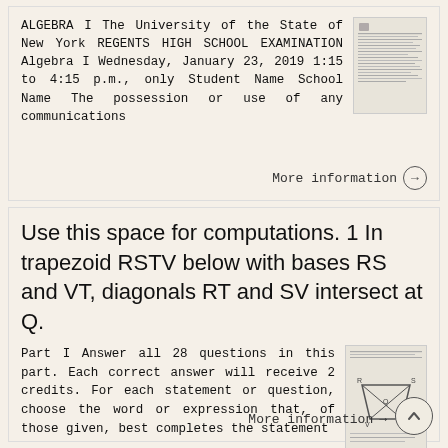ALGEBRA I The University of the State of New York REGENTS HIGH SCHOOL EXAMINATION Algebra I Wednesday, January 23, 2019 1:15 to 4:15 p.m., only Student Name School Name The possession or use of any communications
[Figure (screenshot): Thumbnail of an exam document page with lines of text]
More information →
Use this space for computations. 1 In trapezoid RSTV below with bases RS and VT, diagonals RT and SV intersect at Q.
Part I Answer all 28 questions in this part. Each correct answer will receive 2 credits. For each statement or question, choose the word or expression that, of those given, best completes the statement
[Figure (illustration): Thumbnail showing a trapezoid diagram with labeled vertices and intersecting diagonals]
More information →